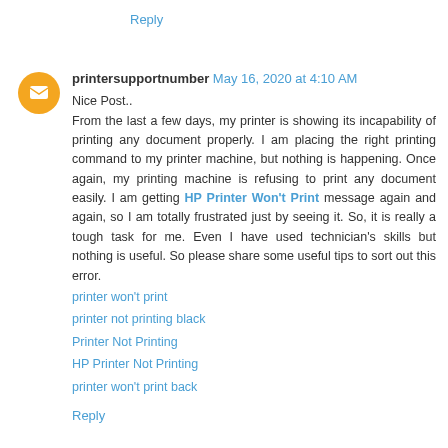Reply
printersupportnumber May 16, 2020 at 4:10 AM
Nice Post.. From the last a few days, my printer is showing its incapability of printing any document properly. I am placing the right printing command to my printer machine, but nothing is happening. Once again, my printing machine is refusing to print any document easily. I am getting HP Printer Won't Print message again and again, so I am totally frustrated just by seeing it. So, it is really a tough task for me. Even I have used technician's skills but nothing is useful. So please share some useful tips to sort out this error.
printer won't print
printer not printing black
Printer Not Printing
HP Printer Not Printing
printer won't print back
Reply